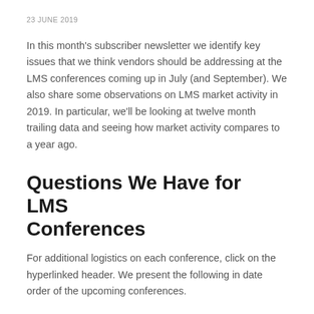23 JUNE 2019
In this month's subscriber newsletter we identify key issues that we think vendors should be addressing at the LMS conferences coming up in July (and September). We also share some observations on LMS market activity in 2019. In particular, we'll be looking at twelve month trailing data and seeing how market activity compares to a year ago.
Questions We Have for LMS Conferences
For additional logistics on each conference, click on the hyperlinked header. We present the following in date order of the upcoming conferences.
We should point out that listening to marketing is easier